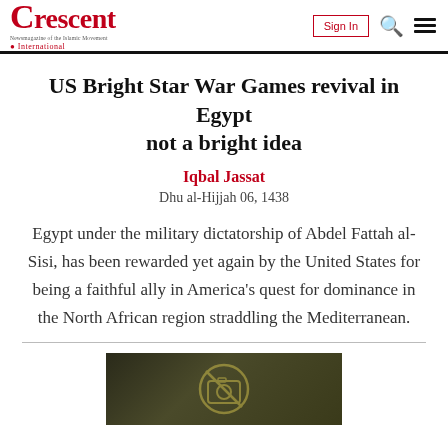Crescent International — Sign In
US Bright Star War Games revival in Egypt not a bright idea
Iqbal Jassat
Dhu al-Hijjah 06, 1438
Egypt under the military dictatorship of Abdel Fattah al-Sisi, has been rewarded yet again by the United States for being a faithful ally in America’s quest for dominance in the North African region straddling the Mediterranean.
[Figure (photo): Dark-toned image with a camera/no-photography icon overlay, partially visible at the bottom of the page.]